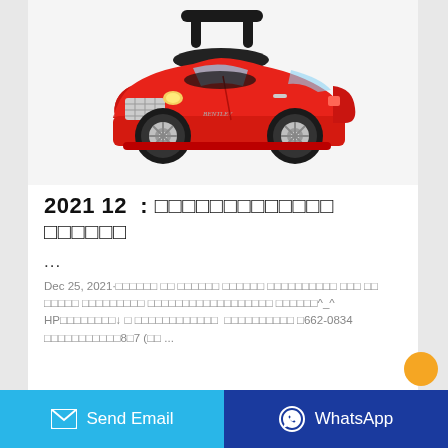[Figure (photo): Red toy ride-on car resembling a Bentley, with black push handle, silver grille, chrome wheels, on white background]
2021 12 : □□□□□□□□□□□□□ □□□□□□
...
Dec 25, 2021·□□□□□□ □□ □□□□□□ □□□□□□ □□□□□□□□□□ □□□ □□ □□□□□ □□□□□□□□□ □□□□□□□□□□□□□□□□□□ □□□□□□^_^ HP□□□□□□□□↓ □ □□□□□□□□□□□□ □□□□□□□□□□ □662-0834 □□□□□□□□□□□8□7 (□□ ...